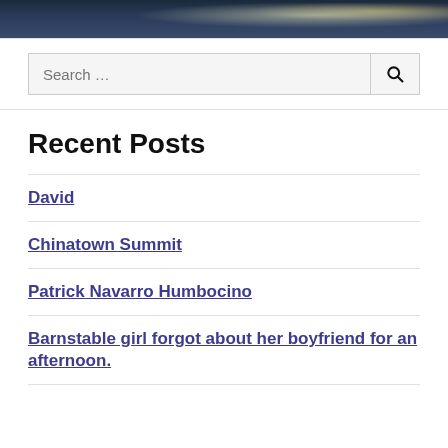[Figure (photo): Dark header image showing a night scene, possibly a street or event with bright lights]
Search ...
Recent Posts
David
Chinatown Summit
Patrick Navarro Humbocino
Barnstable girl forgot about her boyfriend for an afternoon.